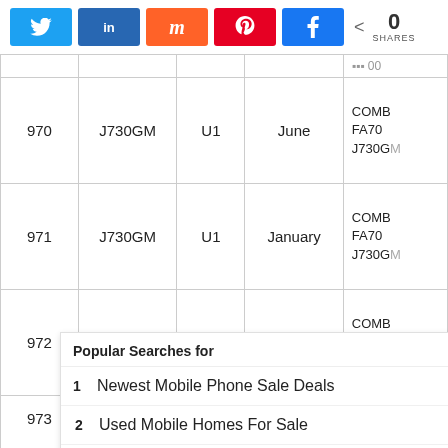[Figure (other): Social share buttons: Twitter, LinkedIn, Mix, Pinterest, Facebook, and share count showing 0 SHARES]
| # | Model | U | Month | Info |
| --- | --- | --- | --- | --- |
| 970 | J730GM | U1 | June | COMB FA70 J730GM... |
| 971 | J730GM | U1 | January | COMB FA70 J730GM... |
| 972 | J730GM | U3 | January | COMB FA70 J730GM... |
| 973 | J730GM | U1 | ... | COMB FA70 J730GM... |
| 974 | ... | ... | September | COMB... |
[Figure (screenshot): Yahoo sponsored ad overlay: Popular Searches for — 1. Newest Mobile Phone Sale Deals, 2. Used Mobile Homes For Sale]